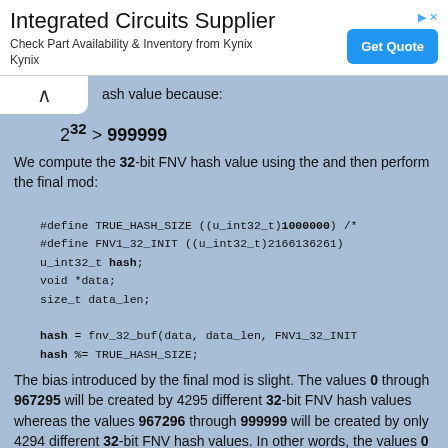[Figure (other): Advertisement banner: Integrated Circuits Supplier - Check Part Availability & Inventory from Kynix / Kynix - Get Quote button]
ash value because:
We compute the 32-bit FNV hash value using the and then perform the final mod:
#define TRUE_HASH_SIZE ((u_int32_t)1000000) /*
#define FNV1_32_INIT ((u_int32_t)2166136261)
u_int32_t hash;
void *data;
size_t data_len;

hash = fnv_32_buf(data, data_len, FNV1_32_INIT
hash %= TRUE_HASH_SIZE;
The bias introduced by the final mod is slight. The values 0 through 967295 will be created by 4295 different 32-bit FNV hash values whereas the values 967296 through 999999 will be created by only 4294 different 32-bit FNV hash values. In other words, the values 0 through 967295 will occur ~1.0002328 times as often as the values 967296